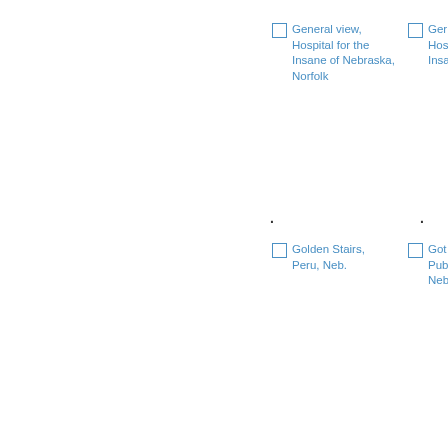General view, Hospital for the Insane of Nebraska, Norfolk
Ger... Hos... Insane, ...
Golden Stairs, Peru, Neb.
Got... Pub... Nebraska...